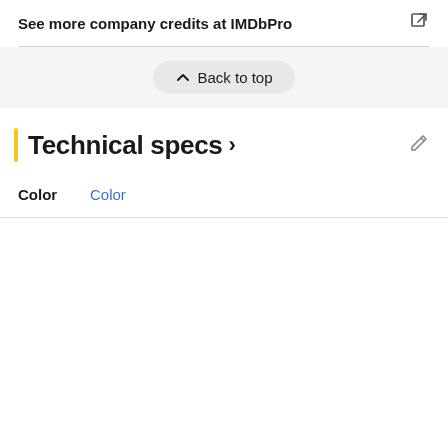See more company credits at IMDbPro
Technical specs >
Color  Color